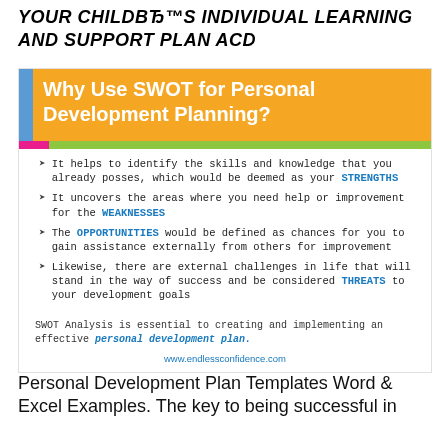YOUR CHILD'S INDIVIDUAL LEARNING AND SUPPORT PLAN ACD
[Figure (infographic): Infographic titled 'Why Use SWOT for Personal Development Planning?' with orange header, blue accent bar, pink and green stripe, and four bullet points explaining STRENGTHS, WEAKNESSES, OPPORTUNITIES, and THREATS in SWOT analysis. Ends with summary text about SWOT Analysis and personal development plan, and website www.endlessconfidence.com]
Personal Development Plan Templates Word & Excel Examples. The key to being successful in